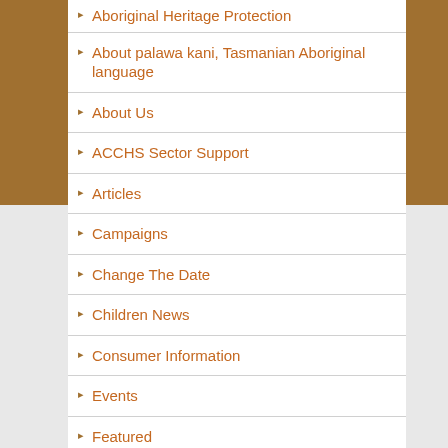Aboriginal Heritage Protection
About palawa kani, Tasmanian Aboriginal language
About Us
ACCHS Sector Support
Articles
Campaigns
Change The Date
Children News
Consumer Information
Events
Featured